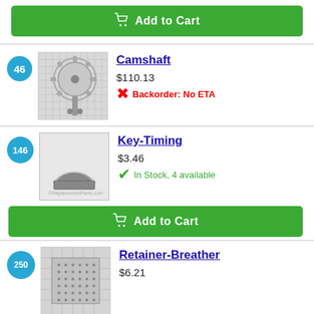[Figure (other): Add to Cart button (green) at top of page]
[Figure (photo): Product image of Camshaft part (gear mechanism on grid background)]
Camshaft
$110.13
Backorder: No ETA
[Figure (photo): Product image of Key-Timing part (semi-circular metal key)]
Key-Timing
$3.46
In Stock, 4 available
[Figure (other): Add to Cart button (green) for Key-Timing]
[Figure (photo): Product image of Retainer-Breather part (grid-patterned metal part)]
Retainer-Breather
$6.21